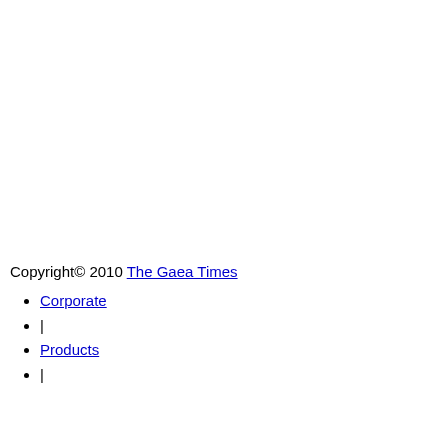Copyright© 2010 The Gaea Times
Corporate
|
Products
|